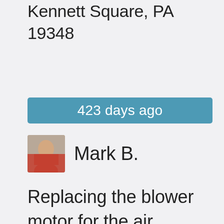Kennett Square, PA 19348
423 days ago
[Figure (photo): Avatar photo of Mark B., a man in a red shirt]
Mark B.
Replacing the blower motor for the air